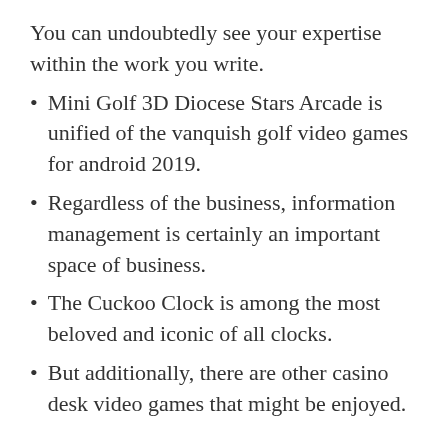You can undoubtedly see your expertise within the work you write.
Mini Golf 3D Diocese Stars Arcade is unified of the vanquish golf video games for android 2019.
Regardless of the business, information management is certainly an important space of business.
The Cuckoo Clock is among the most beloved and iconic of all clocks.
But additionally, there are other casino desk video games that might be enjoyed.
The sector hopes for extra passionate